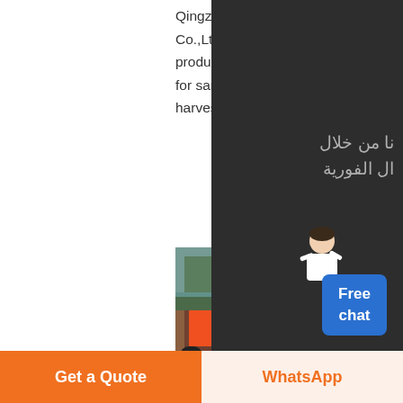Qingzhou Keda Environment Protection Machinery Co.,Ltd has been a famous manufacturer since mai products include cutter suction dredger and jet dre for sand mining and gold mining,aquatic weed harvesters and trash skimmer for river issues....
[Figure (photo): Three product images showing industrial dredging and mining equipment including truck-mounted machinery, wash plant equipment, and mining crusher equipment]
gold mine zealand mongolia
Rotary Gold Trommel Wash Plant Manufacturer G Mining. Minequip's gold mining equipment rotary trommel wash plants are manufactured for comme use in small to medium sized gold recovery operat and our gold mining equipment is used successfull production gold mines in New Zealand Mongolia Papua New Guinea Bolivia Ghana and Cameroon.
نا من خلال
ال الفورية
منزل
تجات
حلول
Free chat
Get a Quote
WhatsApp